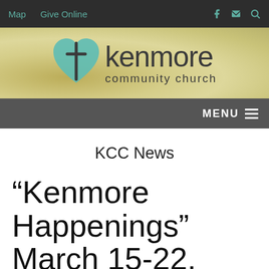Map  Give Online
[Figure (logo): Kenmore Community Church logo: teal heart with cross, text 'kenmore community church' on gold/tan textured background]
MENU
KCC News
“Kenmore Happenings” March 15-22,